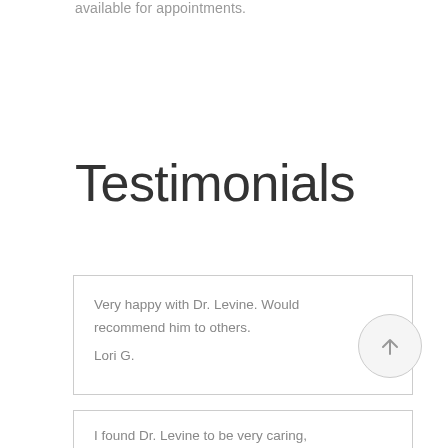available for appointments.
Testimonials
Very happy with Dr. Levine. Would recommend him to others.

Lori G.
I found Dr. Levine to be very caring,